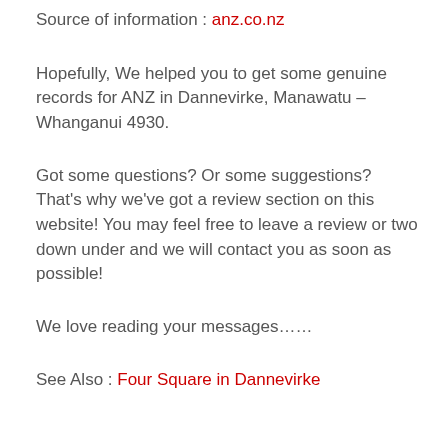Source of information : anz.co.nz
Hopefully, We helped you to get some genuine records for ANZ in Dannevirke, Manawatu – Whanganui 4930.
Got some questions? Or some suggestions? That's why we've got a review section on this website! You may feel free to leave a review or two down under and we will contact you as soon as possible!
We love reading your messages……
See Also : Four Square in Dannevirke